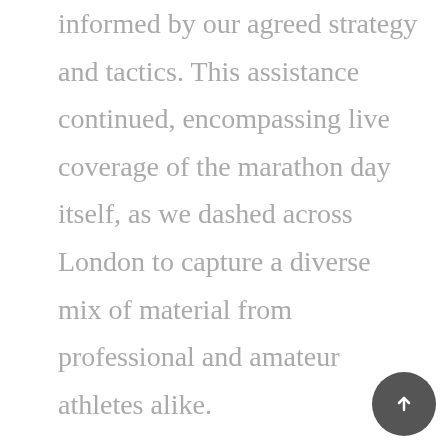informed by our agreed strategy and tactics. This assistance continued, encompassing live coverage of the marathon day itself, as we dashed across London to capture a diverse mix of material from professional and amateur athletes alike.

As a whole, we functioned in a support role for the most part, supplementing the official Virgin Money London Marathon activation plan; developing further responsibilities when overseeing the management of the Long Run live broadcasts. Sustained reactivity to events throughout the week of the Virgin London Marathon was made possible by ou